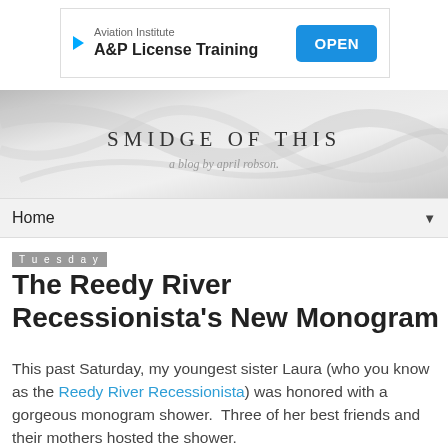[Figure (screenshot): Advertisement banner for Aviation Institute A&P License Training with OPEN button]
[Figure (illustration): Blog header banner with marble texture background showing 'SMIDGE OF THIS' and subtitle 'a blog by april robson']
Home ▼
Tuesday
The Reedy River Recessionista's New Monogram
This past Saturday, my youngest sister Laura (who you know as the Reedy River Recessionista) was honored with a gorgeous monogram shower.  Three of her best friends and their mothers hosted the shower.